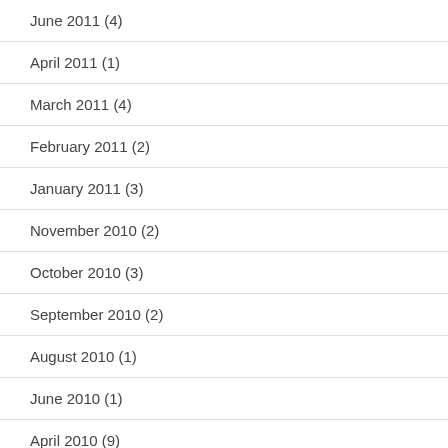June 2011 (4)
April 2011 (1)
March 2011 (4)
February 2011 (2)
January 2011 (3)
November 2010 (2)
October 2010 (3)
September 2010 (2)
August 2010 (1)
June 2010 (1)
April 2010 (9)